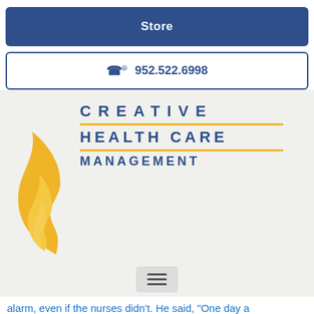Store
952.522.6998
[Figure (logo): Creative Health Care Management logo with a golden flame on the left and three lines of text: CREATIVE, HEALTH CARE, MANAGEMENT, separated by gold horizontal rules]
alarm, even if the nurses didn't. He said, "One day a patient will be hurt because no one responded when it mattered most." I had no answer for him. What he